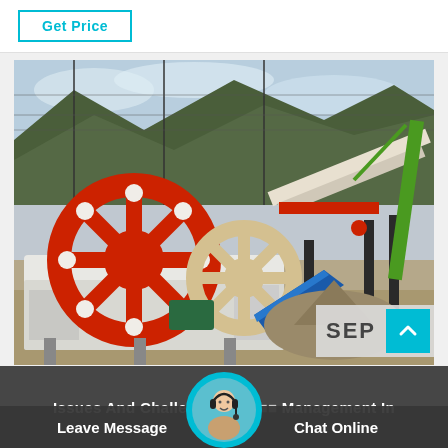Get Price
[Figure (photo): Industrial sand washing machine with large red wheel buckets, white base/frame, blue chute, and a conveyor/screening structure in background, set outdoors against a hillside with trees and power lines. A green crane is visible on the right.]
SEP
Issues And Challenges Of ... Management In
Leave Message
Chat Online